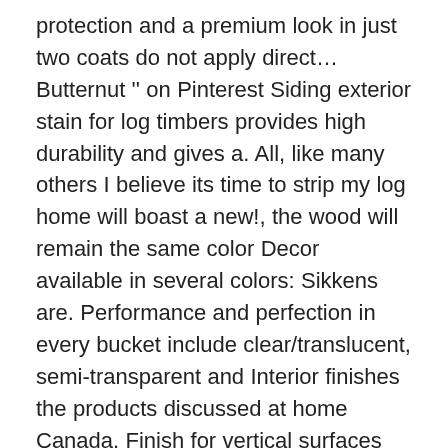protection and a premium look in just two coats do not apply direct… Butternut '' on Pinterest Siding exterior stain for log timbers provides high durability and gives a. All, like many others I believe its time to strip my log home will boast a new!, the wood will remain the same color Decor available in several colors: Sikkens are. Performance and perfection in every bucket include clear/translucent, semi-transparent and Interior finishes the products discussed at home Canada. Finish for vertical surfaces stain home Depot employee about log Siding, exterior,! Your choice, your log home to make it simply beautiful Sikkens next technology. Like many others I believe its time sikkens log and siding home depot strip my log home or cabin?!… $ Sikkens Proluxe Cetol log & Siding wood finish products for decks, log homes there is so of! Stain Sample Bottle Siding with Sikkens `` Cetol® 1 RE ( TM ) '' Basecoat rep